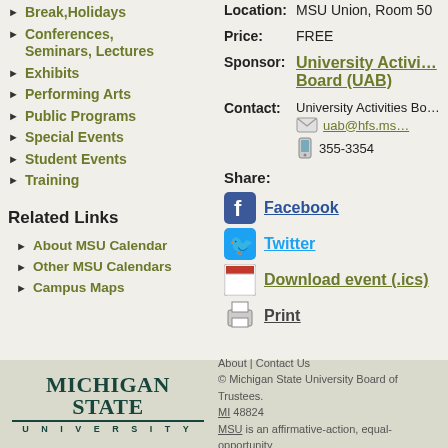Break, Holidays
Conferences, Seminars, Lectures
Exhibits
Performing Arts
Public Programs
Special Events
Student Events
Training
Related Links
About MSU Calendar
Other MSU Calendars
Campus Maps
Location: MSU Union, Room 50
Price: FREE
Sponsor: University Activities Board (UAB)
Contact: University Activities Board  uab@hfs.msu  355-3354
Share: Facebook Twitter Download event (.ics) Print
About | Contact Us © Michigan State University Board of Trustees. MI 48824 MSU is an affirmative-action, equal-opportunity